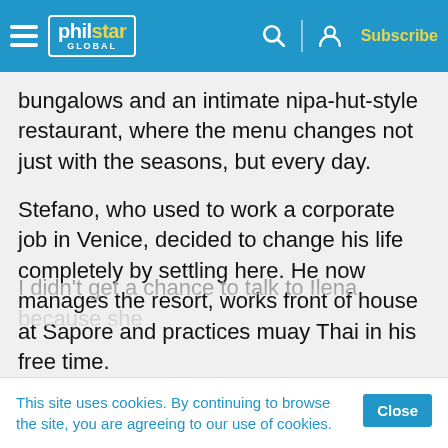philstar GLOBAL — Subscribe
bungalows and an intimate nipa-hut-style restaurant, where the menu changes not just with the seasons, but every day.
Stefano, who used to work a corporate job in Venice, decided to change his life completely by settling here. He now manages the resort, works front of house at Sapore and practices muay Thai in his free time.
I didn't get a chance to talk to Ilena because she
This site uses cookies. By continuing to browse the site, you are agreeing to our use of cookies.